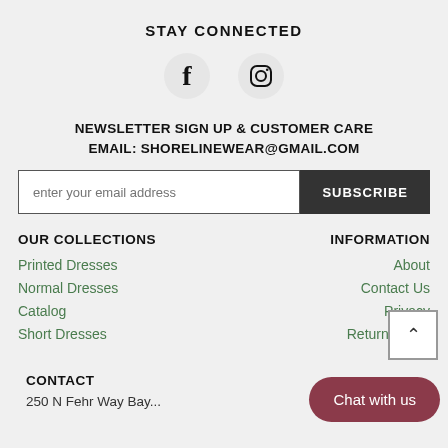STAY CONNECTED
[Figure (illustration): Facebook and Instagram social media icons side by side]
NEWSLETTER SIGN UP & CUSTOMER CARE EMAIL: SHORELINEWEAR@GMAIL.COM
enter your email address [input field] SUBSCRIBE [button]
OUR COLLECTIONS
INFORMATION
Printed Dresses
Normal Dresses
Catalog
Short Dresses
About
Contact Us
Privacy
Return Policy
CONTACT
250 N Fehr Way Bay...